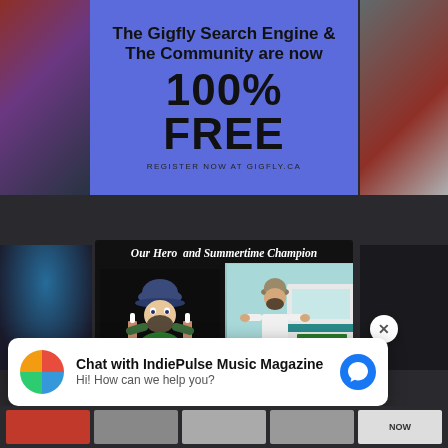[Figure (infographic): Blue advertisement banner: 'The Gigfly Search Engine & The Community are now 100% FREE. REGISTER NOW AT GIGFLY.CA']
[Figure (infographic): Ice Cream Ian advertisement card on black background. Header: 'Our Hero and Summertime Champion'. Shows Ice Cream Ian logo and photo of man in front of ice cream truck. Footer: 'Your Friendly Neighborhood Ice Cream Man']
Chat with IndiePulse Music Magazine
Hi! How can we help you?